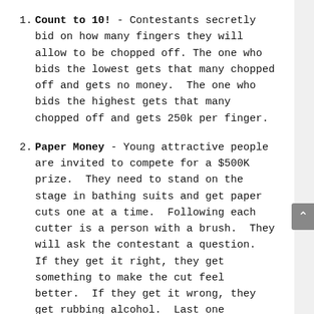Count to 10! - Contestants secretly bid on how many fingers they will allow to be chopped off. The one who bids the lowest gets that many chopped off and gets no money. The one who bids the highest gets that many chopped off and gets 250k per finger.
Paper Money - Young attractive people are invited to compete for a $500K prize. They need to stand on the stage in bathing suits and get paper cuts one at a time. Following each cutter is a person with a brush. They will ask the contestant a question. If they get it right, they get something to make the cut feel better. If they get it wrong, they get rubbing alcohol. Last one standing wins!
Gut Check - People get weighed when they come in. Then they are given a table full of nuts and bolts and shit like that - they have one hour and